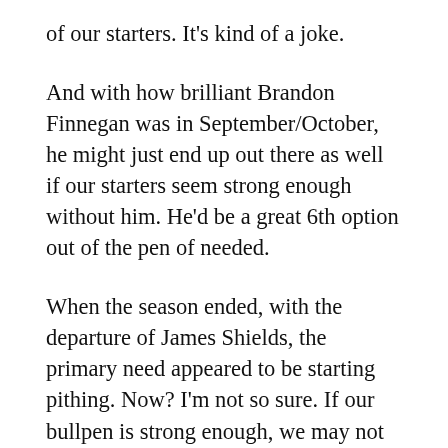of our starters. It’s kind of a joke.
And with how brilliant Brandon Finnegan was in September/October, he might just end up out there as well if our starters seem strong enough without him. He’d be a great 6th option out of the pen of needed.
When the season ended, with the departure of James Shields, the primary need appeared to be starting pithing. Now? I’m not so sure. If our bullpen is strong enough, we may not even need to jump at a top starter at all. Just someone serviceable who can give 5 innings to get the ball to HHDH. (The only reason I’d want us to ship Davis instead of Holland is so we